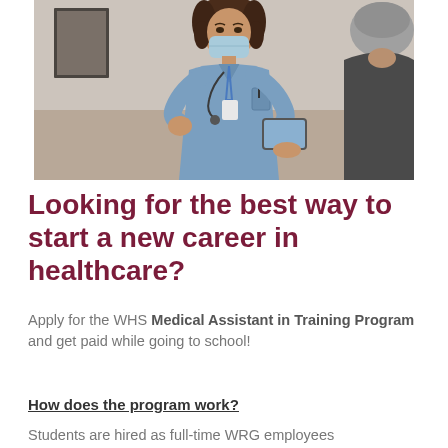[Figure (photo): A nurse in blue scrubs and a light blue surgical mask, holding a tablet and gesturing with one hand, speaking with an elderly patient whose back is to the camera. Room interior in background.]
Looking for the best way to start a new career in healthcare?
Apply for the WHS Medical Assistant in Training Program and get paid while going to school!
How does the program work?
Students are hired as full-time WRG employees